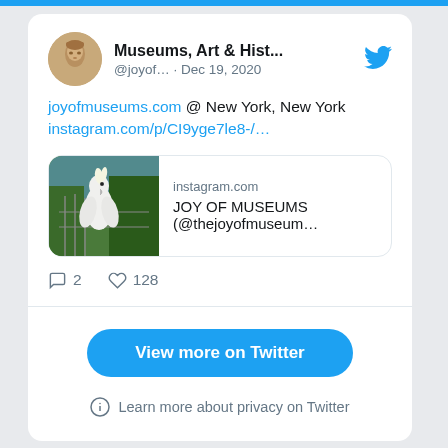[Figure (screenshot): Twitter/social media embed widget showing a tweet from 'Museums, Art & Hist...' (@joyof...) dated Dec 19, 2020, with links to joyofmuseums.com and instagram.com, an Instagram link preview card showing a white parrot/cockatoo photo with text 'instagram.com JOY OF MUSEUMS (@thejoyofmuseum...)', reply count 2, like count 128, a 'View more on Twitter' button, and a 'Learn more about privacy on Twitter' footer note.]